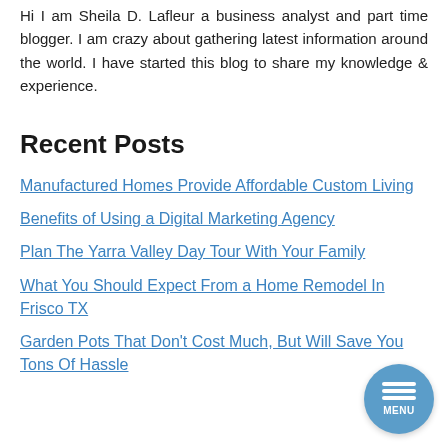Hi I am Sheila D. Lafleur a business analyst and part time blogger. I am crazy about gathering latest information around the world. I have started this blog to share my knowledge & experience.
Recent Posts
Manufactured Homes Provide Affordable Custom Living
Benefits of Using a Digital Marketing Agency
Plan The Yarra Valley Day Tour With Your Family
What You Should Expect From a Home Remodel In Frisco TX
Garden Pots That Don't Cost Much, But Will Save You Tons Of Hassle
[Figure (other): Circular blue menu button with three white horizontal bars and the label MENU]